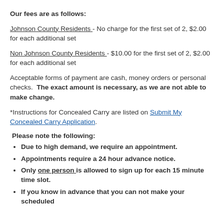Our fees are as follows:
Johnson County Residents - No charge for the first set of 2, $2.00 for each additional set
Non Johnson County Residents - $10.00 for the first set of 2, $2.00 for each additional set
Acceptable forms of payment are cash, money orders or personal checks.  The exact amount is necessary, as we are not able to make change.
*Instructions for Concealed Carry are listed on Submit My Concealed Carry Application.
Please note the following:
Due to high demand, we require an appointment.
Appointments require a 24 hour advance notice.
Only one person is allowed to sign up for each 15 minute time slot.
If you know in advance that you can not make your scheduled